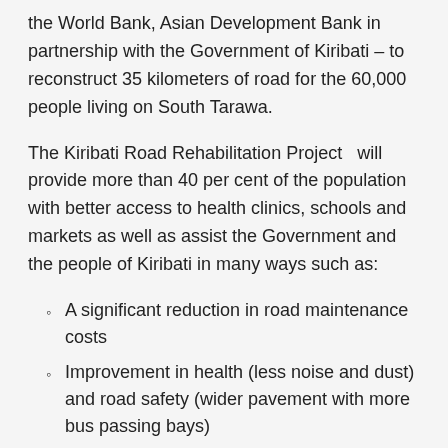the World Bank, Asian Development Bank in partnership with the Government of Kiribati – to reconstruct 35 kilometers of road for the 60,000 people living on South Tarawa.
The Kiribati Road Rehabilitation Project  will provide more than 40 per cent of the population with better access to health clinics, schools and markets as well as assist the Government and the people of Kiribati in many ways such as:
A significant reduction in road maintenance costs
Improvement in health (less noise and dust) and road safety (wider pavement with more bus passing bays)
A reduction in travel times
Reduced wear and tear on vehicles
Rehabilitation of the road will also boost the economic...